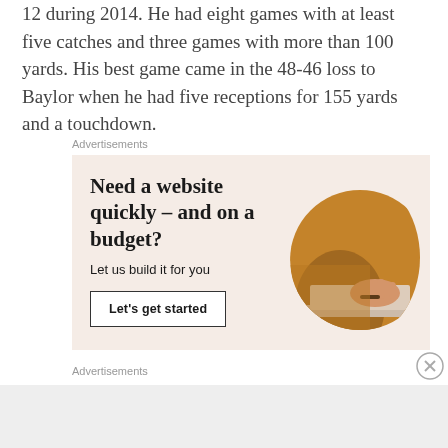12 during 2014. He had eight games with at least five catches and three games with more than 100 yards. His best game came in the 48-46 loss to Baylor when he had five receptions for 155 yards and a touchdown.
Advertisements
[Figure (other): Advertisement banner with text 'Need a website quickly – and on a budget? Let us build it for you' with a 'Let's get started' button and a circular image of hands typing on a laptop.]
Advertisements